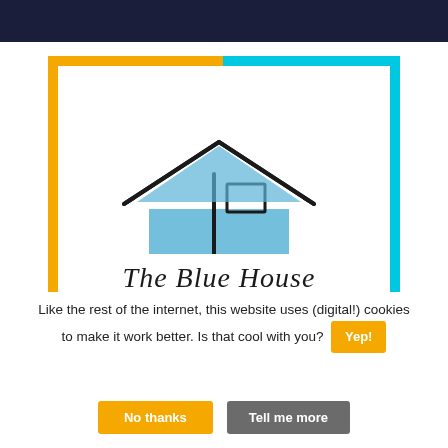[Figure (screenshot): Dark navy navigation bar at top of webpage]
[Figure (logo): The Blue House logo: a hand-drawn style blue house illustration with orange and cyan border frame, with text 'The Blue House' in italic serif font below]
Like the rest of the internet, this website uses (digital!) cookies to make it work better. Is that cool with you?
Yep!
No thanks
Tell me more